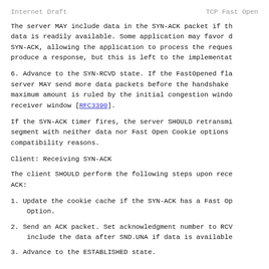Internet Draft                    TCP Fast Open
The server MAY include data in the SYN-ACK packet if the data is readily available. Some application may favor d SYN-ACK, allowing the application to process the reques produce a response, but this is left to the implementat
6. Advance to the SYN-RCVD state. If the FastOpened fla server MAY send more data packets before the handshake maximum amount is ruled by the initial congestion windo receiver window [RFC3390].
If the SYN-ACK timer fires, the server SHOULD retransmi segment with neither data nor Fast Open Cookie options compatibility reasons.
Client: Receiving SYN-ACK
The client SHOULD perform the following steps upon rece ACK:
1. Update the cookie cache if the SYN-ACK has a Fast Op Option.
2. Send an ACK packet. Set acknowledgment number to RCV include the data after SND.UNA if data is available
3. Advance to the ESTABLISHED state.